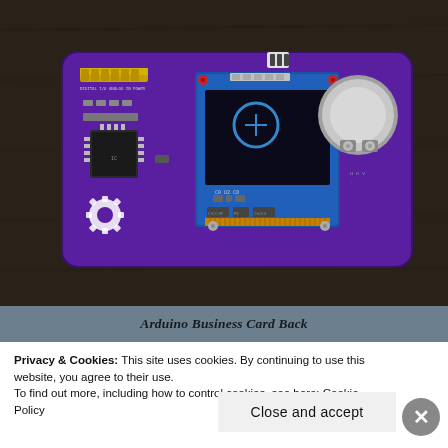[Figure (photo): Photograph of the back of an Arduino Business Card PCB. The board is purple with various electronic components: a row of header pins, an IC chip, an LCD module (blue, with flexible connector), a coin cell battery holder, and a gear/cog logo. Photographed on a dark wooden surface.]
Arduino Business Card Back
Privacy & Cookies: This site uses cookies. By continuing to use this website, you agree to their use.
To find out more, including how to control cookies, see here: Cookie Policy
Close and accept